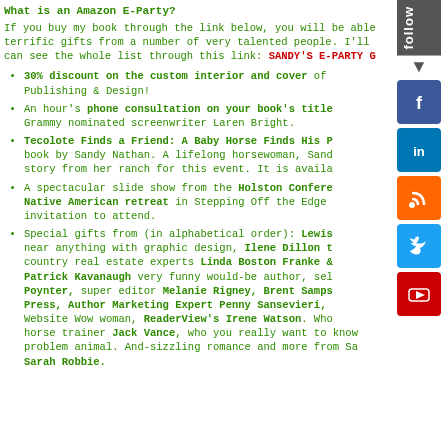What is an Amazon E-Party?
If you buy my book through the link below, you will be able to get terrific gifts from a number of very talented people. I'll can see the whole list through this link: SANDY'S E-PARTY G
30% discount on the custom interior and cover of Publishing & Design!
An hour's phone consultation on your book's title Grammy nominated screenwriter Laren Bright.
Tecolote Finds a Friend: A Baby Horse Finds His P book by Sandy Nathan. A lifelong horsewoman, Sand story from her ranch for this event. It is availa
A spectacular slide show from the Holston Conference Native American retreat in Stepping Off the Edge invitation to attend.
Special gifts from (in alphabetical order): Lewis near anything with graphic design, Ilene Dillon t country real estate experts Linda Boston Franke & Patrick Kavanaugh very funny would-be author, sel Poynter, super editor Melanie Rigney, Brent Samps Press, Author Marketing Expert Penny Sansevieri, Website Wow woman, ReaderView's Irene Watson. Who horse trainer Jack Vance, who you really want to know problem animal. And-sizzling romance and more from Sa Sarah Robbie.
[Figure (infographic): Social media follow sidebar with follow label, arrow, and icons for Facebook, LinkedIn, RSS, Twitter, YouTube]